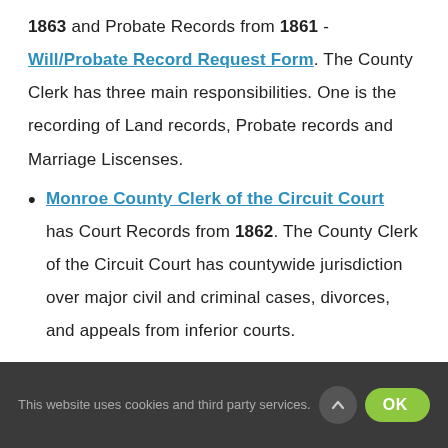1863 and Probate Records from 1861 - Will/Probate Record Request Form. The County Clerk has three main responsibilities. One is the recording of Land records, Probate records and Marriage Liscenses.
Monroe County Clerk of the Circuit Court has Court Records from 1862. The County Clerk of the Circuit Court has countywide jurisdiction over major civil and criminal cases, divorces, and appeals from inferior courts.
This website uses cookies and third party services.